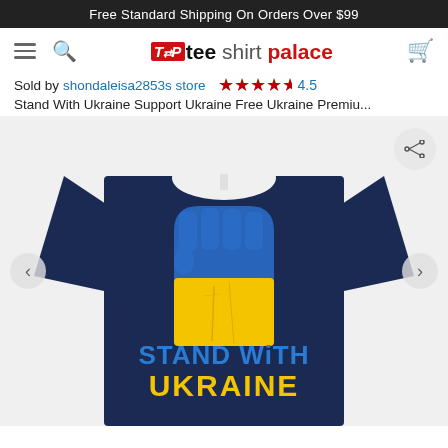Free Standard Shipping On Orders Over $99
[Figure (logo): TSP Tee Shirt Palace logo with hamburger menu, search icon, and cart icon in a navigation bar]
Sold by shondaleisa2853s store  ★★★★½  4.5
Stand With Ukraine Support Ukraine Free Ukraine Premiu...
[Figure (photo): Navy blue t-shirt with a raised fist graphic in blue and yellow (Ukrainian flag colors) and text 'STAND WITH UKRAINE' on the front, displayed on a light grey background with left and right navigation arrows]